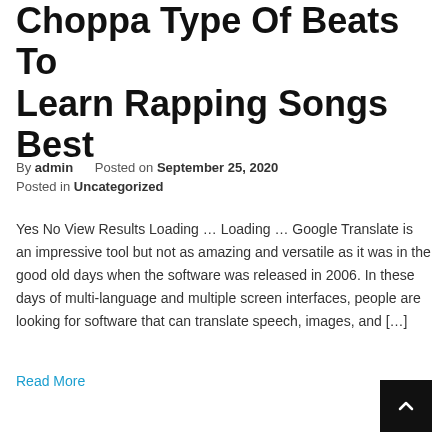Choppa Type Of Beats To Learn Rapping Songs Best
By admin      Posted on September 25, 2020
Posted in Uncategorized
Yes No View Results Loading … Loading … Google Translate is an impressive tool but not as amazing and versatile as it was in the good old days when the software was released in 2006. In these days of multi-language and multiple screen interfaces, people are looking for software that can translate speech, images, and […]
Read More